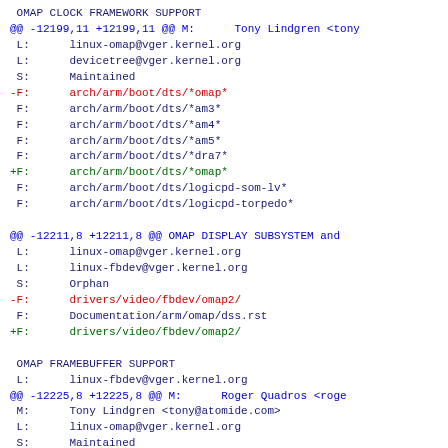OMAP CLOCK FRAMEWORK SUPPORT
@@ -12199,11 +12199,11 @@ M:      Tony Lindgren <tony
 L:      linux-omap@vger.kernel.org
 L:      devicetree@vger.kernel.org
 S:      Maintained
-F:      arch/arm/boot/dts/*omap*
 F:      arch/arm/boot/dts/*am3*
 F:      arch/arm/boot/dts/*am4*
 F:      arch/arm/boot/dts/*am5*
 F:      arch/arm/boot/dts/*dra7*
+F:      arch/arm/boot/dts/*omap*
 F:      arch/arm/boot/dts/logicpd-som-lv*
 F:      arch/arm/boot/dts/logicpd-torpedo*

@@ -12211,8 +12211,8 @@ OMAP DISPLAY SUBSYSTEM and
 L:      linux-omap@vger.kernel.org
 L:      linux-fbdev@vger.kernel.org
 S:      Orphan
-F:      drivers/video/fbdev/omap2/
 F:      Documentation/arm/omap/dss.rst
+F:      drivers/video/fbdev/omap2/

 OMAP FRAMEBUFFER SUPPORT
 L:      linux-fbdev@vger.kernel.org
@@ -12225,8 +12225,8 @@ M:      Roger Quadros <roge
 M:      Tony Lindgren <tony@atomide.com>
 L:      linux-omap@vger.kernel.org
 S:      Maintained
-F:      drivers/memory/omap-gpmc.c
 F:      arch/arm/mach-omap2/*gpmc*
[Figure (screenshot): Diff/patch view of kernel MAINTAINERS file showing OMAP clock framework, display subsystem, and framebuffer support sections with added and removed lines highlighted in green and red respectively.]